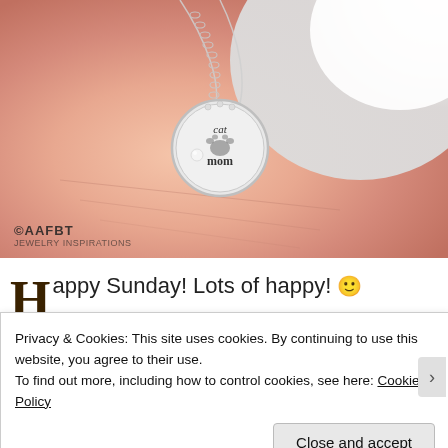[Figure (photo): Close-up photo of a hand holding a silver 'cat mom' necklace pendant with paw print design and a small pearl, with a white cat's fur visible in the background. Watermark '©AAFBT' with small text below it appears in the bottom left corner.]
Happy Sunday! Lots of happy! 🙂
Privacy & Cookies: This site uses cookies. By continuing to use this website, you agree to their use.
To find out more, including how to control cookies, see here: Cookie Policy
Close and accept